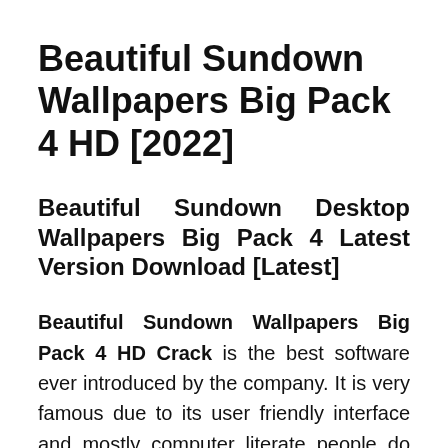Beautiful Sundown Wallpapers Big Pack 4 HD [2022]
Beautiful Sundown Desktop Wallpapers Big Pack 4 Latest Version Download [Latest]
Beautiful Sundown Wallpapers Big Pack 4 HD Crack is the best software ever introduced by the company. It is very famous due to its user friendly interface and mostly computer literate people do not require the training for operating this software of the software. More...